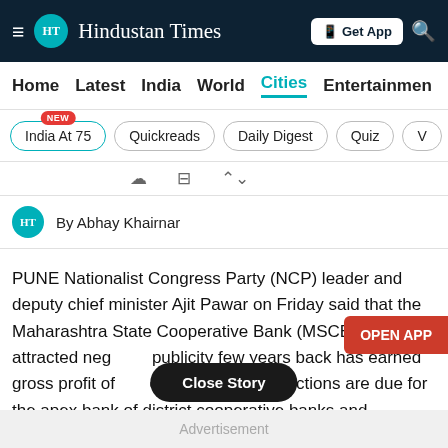Hindustan Times
Home | Latest | India | World | Cities | Entertainment
India At 75 NEW | Quickreads | Daily Digest | Quiz
By Abhay Khairnar
PUNE Nationalist Congress Party (NCP) leader and deputy chief minister Ajit Pawar on Friday said that the Maharashtra State Cooperative Bank (MSCB) that attracted negative publicity few years back has earned gross profit of ₹... crore. While the elections are due for the apex bank of district cooperative banks and ...e financial institutes, the state government is not willing to hold elections immediately.
Advertisement